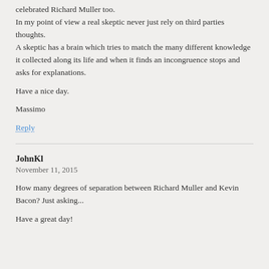celebrated Richard Muller too.
In my point of view a real skeptic never just rely on third parties thoughts.
A skeptic has a brain which tries to match the many different knowledge it collected along its life and when it finds an incongruence stops and asks for explanations.

Have a nice day.

Massimo
Reply
JohnKl
November 11, 2015
How many degrees of separation between Richard Muller and Kevin Bacon? Just asking...

Have a great day!